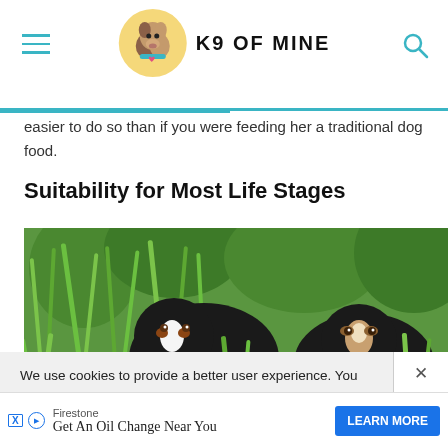K9 OF MINE
easier to do so than if you were feeding her a traditional dog food.
Suitability for Most Life Stages
[Figure (photo): Two Bernese Mountain dogs peeking over tall green grass with lush green foliage background]
We use cookies to provide a better user experience. You consent if you continue to use our website. Learn more
Got it
Firestone Get An Oil Change Near You LEARN MORE